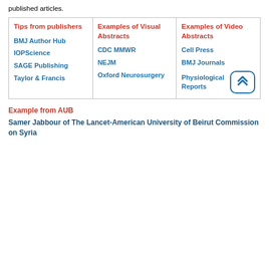published articles.
| Tips from publishers | Examples of Visual Abstracts | Examples of Video Abstracts |
| --- | --- | --- |
| BMJ Author Hub
IOPScience
SAGE Publishing
Taylor & Francis | CDC MMWR
NEJM
Oxford Neurosurgery | Cell Press
BMJ Journals
Physiological Reports |
Example from AUB
Samer Jabbour of The Lancet-American University of Beirut Commission on Syria